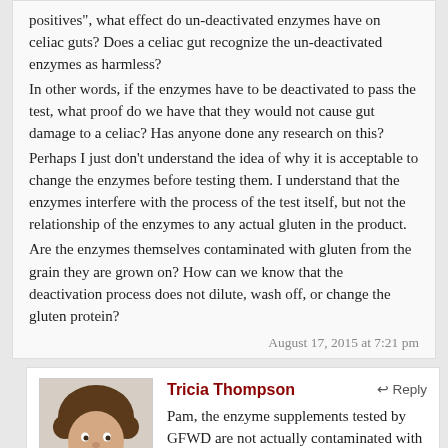positives", what effect do un-deactivated enzymes have on celiac guts? Does a celiac gut recognize the un-deactivated enzymes as harmless? In other words, if the enzymes have to be deactivated to pass the test, what proof do we have that they would not cause gut damage to a celiac? Has anyone done any research on this? Perhaps I just don't understand the idea of why it is acceptable to change the enzymes before testing them. I understand that the enzymes interfere with the process of the test itself, but not the relationship of the enzymes to any actual gluten in the product. Are the enzymes themselves contaminated with gluten from the grain they are grown on? How can we know that the deactivation process does not dilute, wash off, or change the gluten protein?
August 17, 2015 at 7:21 pm
Tricia Thompson
Reply
Pam, the enzyme supplements tested by GFWD are not actually contaminated with gluten. Deactivating the enzymes is done to prevent them from reacting with the assay in an unintended way and causing false positives results.